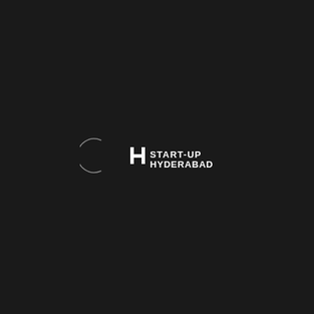[Figure (logo): Start-Up Hyderabad logo on black background. A stylized crescent/arc shape on the left, followed by a custom H icon and the text 'START-UP HYDERABAD' in white bold sans-serif font on two lines.]